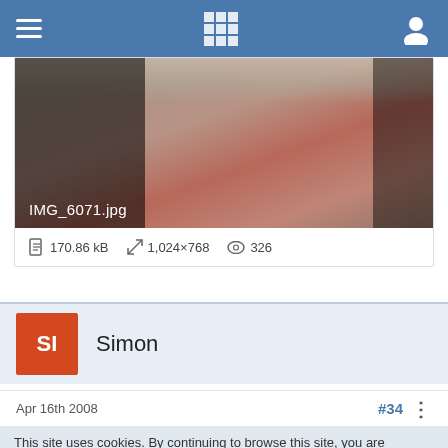[Figure (screenshot): Mobile app navigation bar with hamburger menu on left, grid icon in center, and user profile icon on right, on a blue background]
[Figure (photo): Blurry close-up photo of fingers/hand, dark on left and right edges, with filename IMG_6071.jpg overlaid in white text at bottom left]
170.86 kB   1,024×768   326
SI   Simon
Apr 16th 2008
#34
This site uses cookies. By continuing to browse this site, you are agreeing to our use of cookies.
More Details   Close